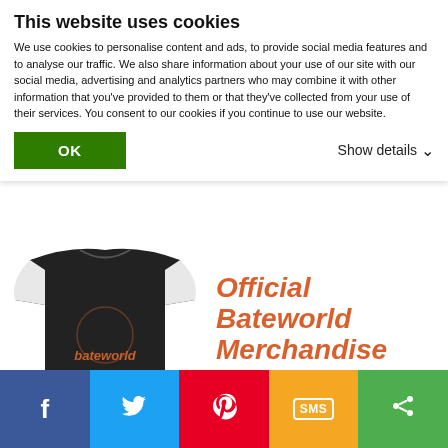This website uses cookies
We use cookies to personalise content and ads, to provide social media features and to analyse our traffic. We also share information about your use of our site with our social media, advertising and analytics partners who may combine it with other information that you've provided to them or that they've collected from your use of their services. You consent to our cookies if you continue to use our website.
OK
Show details ▾
[Figure (photo): Person wearing a black and white raglan baseball t-shirt with 'bateworld' printed on the front, next to text reading 'Official Bateworld Merchandise On Sale!' in orange italic text]
[Figure (infographic): Social media sharing bar with Facebook, Twitter, Pinterest, SMS, and Share buttons]